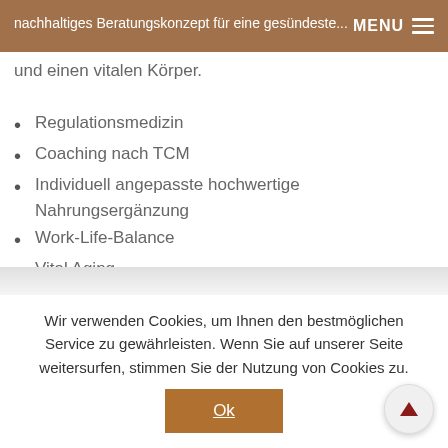MENU
nachhaltiges Beratungskonzept für eine gesündere ... und einen vitalen Körper.
Regulationsmedizin
Coaching nach TCM
Individuell angepasste hochwertige Nahrungsergänzung
Work-Life-Balance
Vital Aging
Prävention
Hormonsubstitution
Wir verwenden Cookies, um Ihnen den bestmöglichen Service zu gewährleisten. Wenn Sie auf unserer Seite weitersurfen, stimmen Sie der Nutzung von Cookies zu.